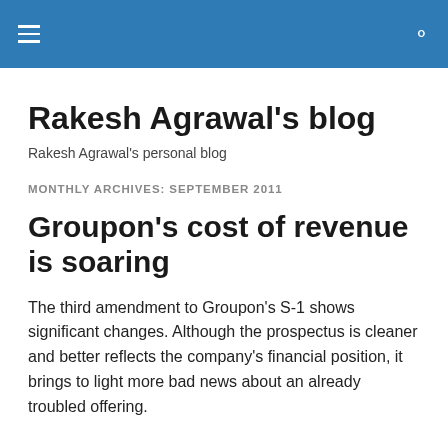Rakesh Agrawal's blog
Rakesh Agrawal's blog
Rakesh Agrawal's personal blog
MONTHLY ARCHIVES: SEPTEMBER 2011
Groupon's cost of revenue is soaring
The third amendment to Groupon's S-1 shows significant changes. Although the prospectus is cleaner and better reflects the company's financial position, it brings to light more bad news about an already troubled offering.